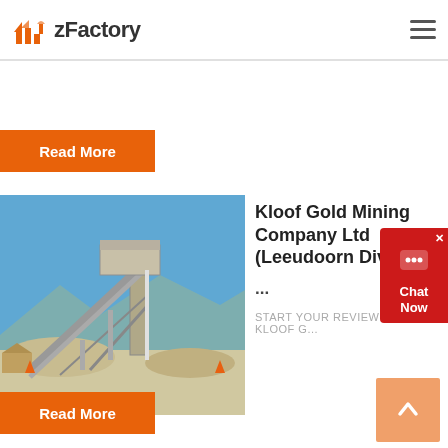zFactory
Read More
[Figure (photo): Industrial mining conveyor belt and processing equipment against a blue sky]
Kloof Gold Mining Company Ltd (Leeudoorn Division ...
START YOUR REVIEW OF Kloof G...
Read More